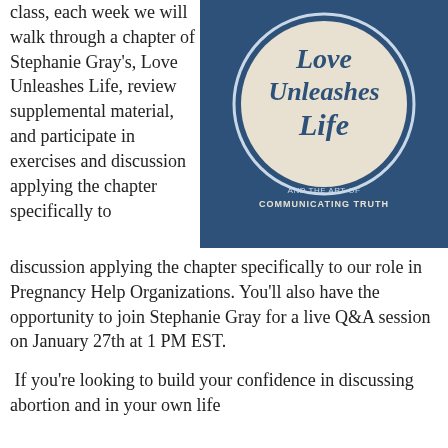class, each week we will walk through a chapter of Stephanie Gray's, Love Unleashes Life, review supplemental material, and participate in exercises and discussion applying the chapter specifically to our role in Pregnancy Help Organizations. You'll also have the opportunity to join Stephanie Gray for a live Q&A session on January 27th at 1 PM EST.
[Figure (illustration): Book cover for 'Love Unleashes Life' by Stephanie Gray. Dark blue background with a circular badge showing the title in script font. Subtitle: 'Abortion and the Art of Communicating Truth'.]
If you're looking to build your confidence in discussing abortion and in your own life...